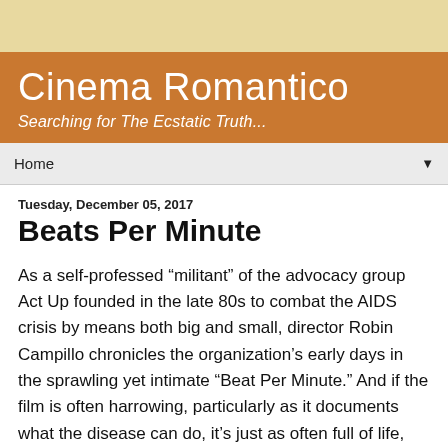Cinema Romantico
Searching for The Ecstatic Truth...
Home
Tuesday, December 05, 2017
Beats Per Minute
As a self-professed “militant” of the advocacy group Act Up founded in the late 80s to combat the AIDS crisis by means both big and small, director Robin Campillo chronicles the organization’s early days in the sprawling yet intimate “Beat Per Minute.” And if the film is often harrowing, particularly as it documents what the disease can do, it’s just as often full of life, repeatedly following scenes of dissent with moments on the dance floor, from which the movie gleans its title, as if its characters are replenishing emotional oxygen for the next battle. What’s more, “BPM” occasionally weaves celebration